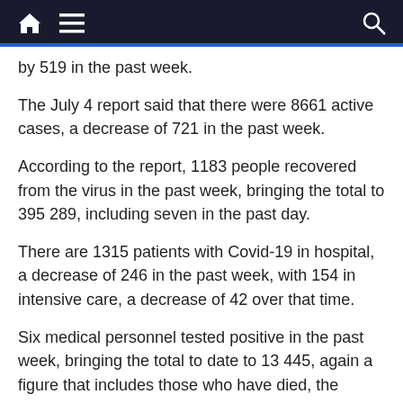Navigation bar with home, menu, and search icons
by 519 in the past week.
The July 4 report said that there were 8661 active cases, a decrease of 721 in the past week.
According to the report, 1183 people recovered from the virus in the past week, bringing the total to 395 289, including seven in the past day.
There are 1315 patients with Covid-19 in hospital, a decrease of 246 in the past week, with 154 in intensive care, a decrease of 42 over that time.
Six medical personnel tested positive in the past week, bringing the total to date to 13 445, again a figure that includes those who have died, the active cases and those who have recovered from the